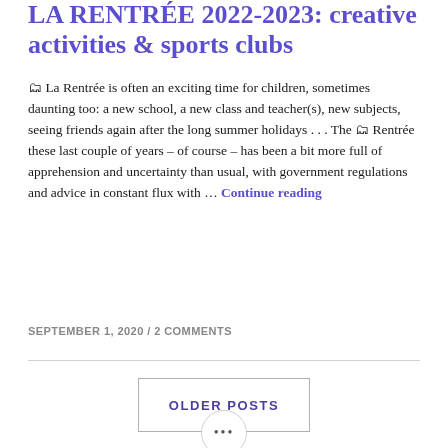LA RENTRÉE 2022-2023: creative activities & sports clubs
🗂 La Rentrée is often an exciting time for children, sometimes daunting too: a new school, a new class and teacher(s), new subjects, seeing friends again after the long summer holidays . . . The 🗂 Rentrée these last couple of years – of course – has been a bit more full of apprehension and uncertainty than usual, with government regulations and advice in constant flux with … Continue reading
SEPTEMBER 1, 2020 / 2 COMMENTS
OLDER POSTS
•••